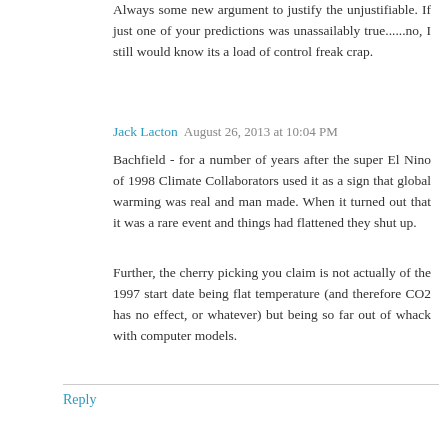Always some new argument to justify the unjustifiable. If just one of your predictions was unassailably true......no, I still would know its a load of control freak crap.
Jack Lacton  August 26, 2013 at 10:04 PM
Bachfield - for a number of years after the super El Nino of 1998 Climate Collaborators used it as a sign that global warming was real and man made. When it turned out that it was a rare event and things had flattened they shut up.
Further, the cherry picking you claim is not actually of the 1997 start date being flat temperature (and therefore CO2 has no effect, or whatever) but being so far out of whack with computer models.
Reply